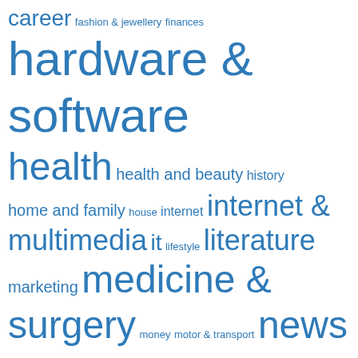[Figure (infographic): Tag cloud with categories of varying sizes in blue. Terms include: career, fashion & jewellery, finances, hardware & software, health, health and beauty, history, home and family, house, internet, internet & multimedia, it, lifestyle, literature, marketing, medicine & surgery, money, motor & transport, news, news & press lyrics, philosophy, psychology, services & consulting, society and culture, sports, stock exchange & stock markets, stories, the news today, trade, travel, vacation & tourism, vocational.]